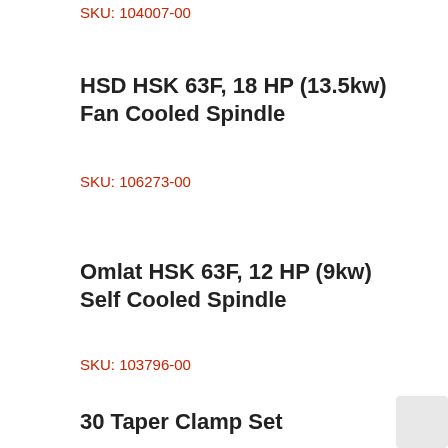SKU: 104007-00
HSD HSK 63F, 18 HP (13.5kw) Fan Cooled Spindle
SKU: 106273-00
Omlat HSK 63F, 12 HP (9kw) Self Cooled Spindle
SKU: 103796-00
30 Taper Clamp Set